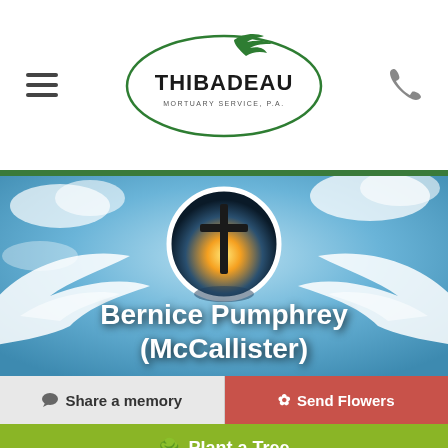[Figure (logo): Thibadeau Mortuary Service PA logo — oval shape with bird/dove graphic, green and dark text]
[Figure (photo): Hero banner image showing a cross silhouette against a bright sky with a white dove/wings, and a circular portrait placeholder with a cross at sunset]
Bernice Pumphrey (McCallister)
💬 Share a memory
✿ Send Flowers
🌳 Plant a Tree